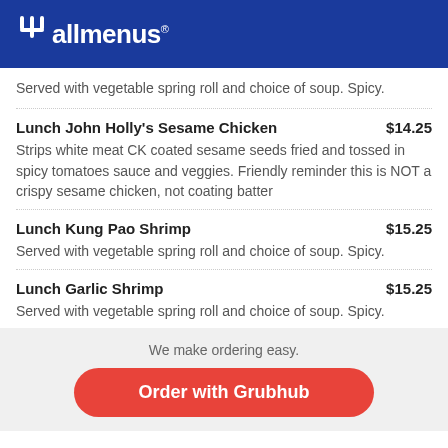allmenus
Served with vegetable spring roll and choice of soup. Spicy.
Lunch John Holly's Sesame Chicken  $14.25
Strips white meat CK coated sesame seeds fried and tossed in spicy tomatoes sauce and veggies. Friendly reminder this is NOT a crispy sesame chicken, not coating batter
Lunch Kung Pao Shrimp  $15.25
Served with vegetable spring roll and choice of soup. Spicy.
Lunch Garlic Shrimp  $15.25
Served with vegetable spring roll and choice of soup. Spicy.
We make ordering easy.
Order with Grubhub